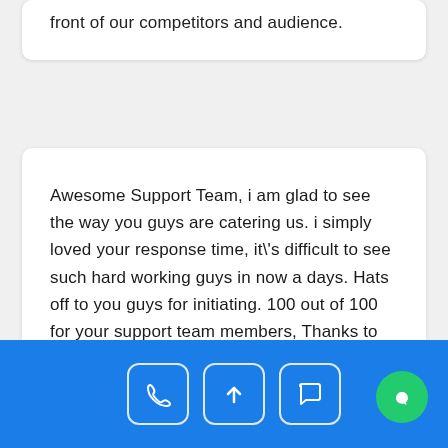front of our competitors and audience.
Awesome Support Team, i am glad to see the way you guys are catering us. i simply loved your response time, it\'s difficult to see such hard working guys in now a days. Hats off to you guys for initiating. 100 out of 100 for your support team members, Thanks to all of you.
[Figure (infographic): Blue footer bar with three icon buttons (phone, upload/arrow, chat bubble) and a green circular chat button on the right]